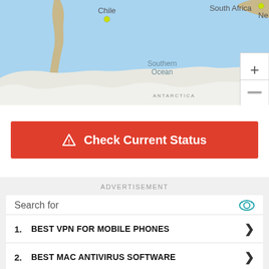[Figure (map): World map showing southern hemisphere including Chile, South Africa, Southern Ocean, New Zealand (partial), and Antarctica. Light blue ocean background with white cloud/ice cover near bottom. Yellow dot markers on Chile and near New Zealand. Zoom in/out controls visible at right edge.]
⚠ Check Current Status
ADVERTISEMENT
Search for
1. BEST VPN FOR MOBILE PHONES
2. BEST MAC ANTIVIRUS SOFTWARE
3. BEST ANTIVIRUS INTERNET